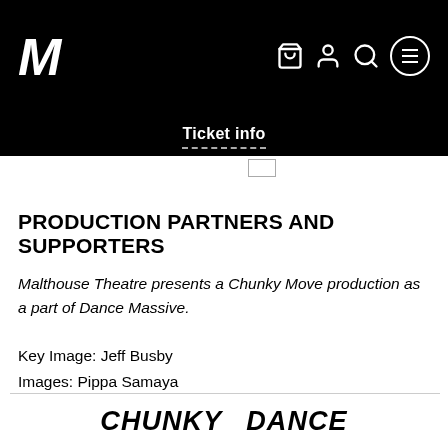M — Malthouse Theatre header with navigation icons (cart, user, search, menu)
Ticket info
PRODUCTION PARTNERS AND SUPPORTERS
Malthouse Theatre presents a Chunky Move production as a part of Dance Massive.
Key Image: Jeff Busby
Images: Pippa Samaya
[Figure (logo): CHUNKY MOVE and DANCE MASSIVE logos at the bottom of the page]